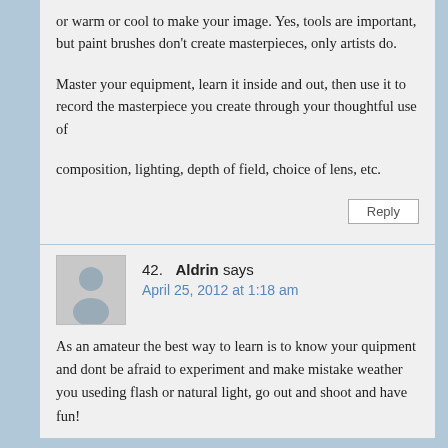or warm or cool to make your image. Yes, tools are important, but paint brushes don’t create masterpieces, only artists do.

Master your equipment, learn it inside and out, then use it to record the masterpiece you create through your thoughtful use of

composition, lighting, depth of field, choice of lens, etc.
Reply
42.  Aldrin says
April 25, 2012 at 1:18 am
As an amateur the best way to learn is to know your quipment and dont be afraid to experiment and make mistake weather you useding flash or natural light, go out and shoot and have fun!